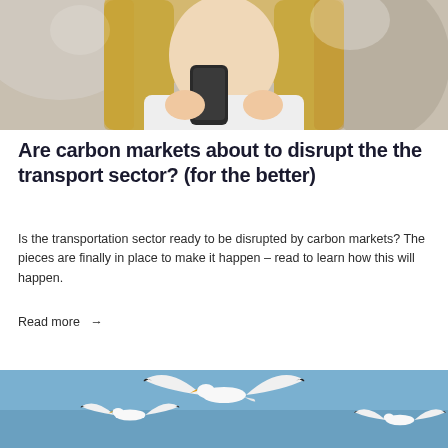[Figure (photo): Woman with long blonde hair holding a smartphone, wearing a white jacket, outdoors in daylight]
Are carbon markets about to disrupt the the transport sector? (for the better)
Is the transportation sector ready to be disrupted by carbon markets? The pieces are finally in place to make it happen – read to learn how this will happen.
Read more →
[Figure (photo): White seagulls in flight against a blue sky]